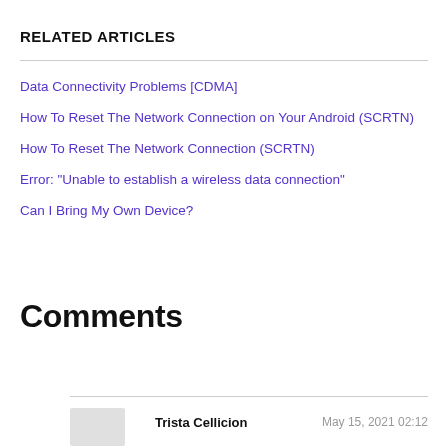RELATED ARTICLES
Data Connectivity Problems [CDMA]
How To Reset The Network Connection on Your Android (SCRTN)
How To Reset The Network Connection (SCRTN)
Error: "Unable to establish a wireless data connection"
Can I Bring My Own Device?
Comments
Trista Cellicion
May 15, 2021 02:12